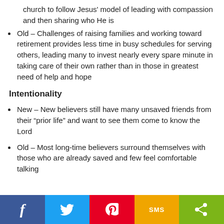church to follow Jesus' model of leading with compassion and then sharing who He is
Old – Challenges of raising families and working toward retirement provides less time in busy schedules for serving others, leading many to invest nearly every spare minute in taking care of their own rather than in those in greatest need of help and hope
Intentionality
New – New believers still have many unsaved friends from their “prior life” and want to see them come to know the Lord
Old – Most long-time believers surround themselves with those who are already saved and few feel comfortable talking